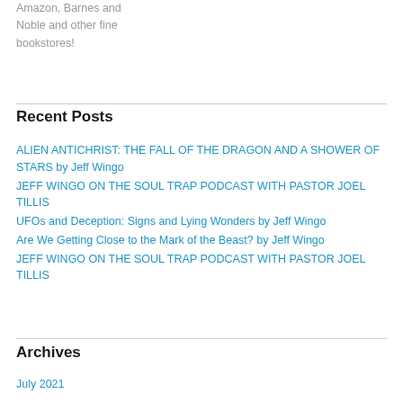Amazon, Barnes and Noble and other fine bookstores!
Recent Posts
ALIEN ANTICHRIST: THE FALL OF THE DRAGON AND A SHOWER OF STARS by Jeff Wingo
JEFF WINGO ON THE SOUL TRAP PODCAST WITH PASTOR JOEL TILLIS
UFOs and Deception: Signs and Lying Wonders by Jeff Wingo
Are We Getting Close to the Mark of the Beast? by Jeff Wingo
JEFF WINGO ON THE SOUL TRAP PODCAST WITH PASTOR JOEL TILLIS
Archives
July 2021